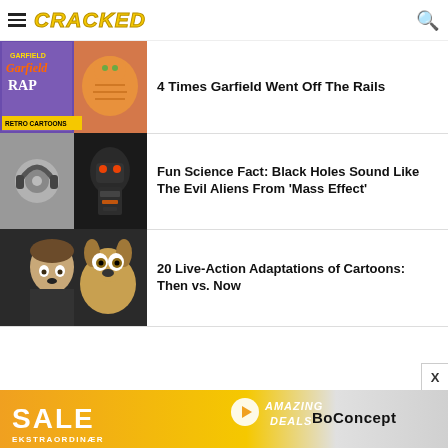CRACKED
[Figure (photo): Garfield Rap retro cartoon thumbnail and Garfield movie CGI characters thumbnail with RETRO CARTOONS badge]
4 Times Garfield Went Off The Rails
[Figure (photo): Black hole audio visualization and Reaper alien from Mass Effect game]
Fun Science Fact: Black Holes Sound Like The Evil Aliens From 'Mass Effect'
[Figure (photo): Live action Scooby-Doo movie screenshot with man and CGI Scooby-Doo]
20 Live-Action Adaptations of Cartoons: Then vs. Now
[Figure (infographic): BoConcept SALE advertisement banner with AMAZING DEALS text]